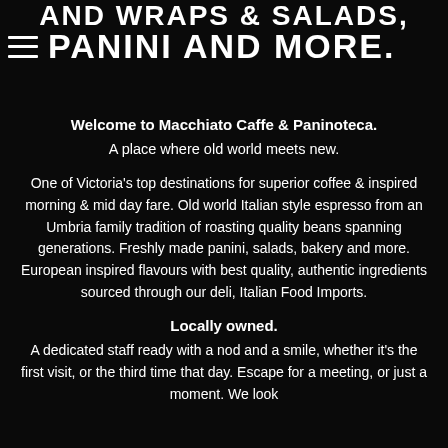AND WRAPS & SALADS, PANINI AND MORE.
Welcome to Macchiato Caffe & Paninoteca.
A place where old world meets new.
One of Victoria's top destinations for superior coffee & inspired morning & mid day fare. Old world Italian style espresso from an Umbria family tradition of roasting quality beans spanning generations. Freshly made panini, salads, bakery and more. European inspired flavours with best quality, authentic ingredients sourced through our deli, Italian Food Imports.
Locally owned.
A dedicated staff ready with a nod and a smile, whether it's the first visit, or the third time that day. Escape for a meeting, or just a moment. We look